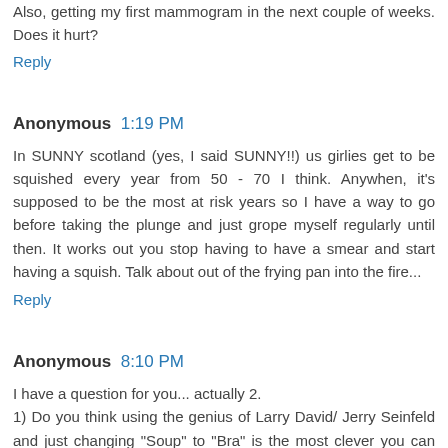Also, getting my first mammogram in the next couple of weeks. Does it hurt?
Reply
Anonymous  1:19 PM
In SUNNY scotland (yes, I said SUNNY!!) us girlies get to be squished every year from 50 - 70 I think. Anywhen, it's supposed to be the most at risk years so I have a way to go before taking the plunge and just grope myself regularly until then. It works out you stop having to have a smear and start having a squish. Talk about out of the frying pan into the fire...
Reply
Anonymous  8:10 PM
I have a question for you... actually 2.
1) Do you think using the genius of Larry David/ Jerry Seinfeld and just changing "Soup" to "Bra" is the most clever you can be?